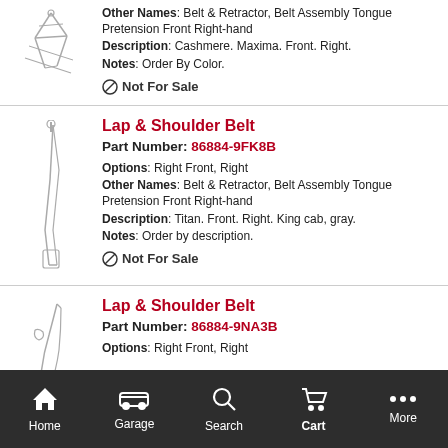Other Names: Belt & Retractor, Belt Assembly Tongue Pretension Front Right-hand
Description: Cashmere. Maxima. Front. Right.
Notes: Order By Color.
⊘ Not For Sale
Lap & Shoulder Belt
Part Number: 86884-9FK8B
Options: Right Front, Right
Other Names: Belt & Retractor, Belt Assembly Tongue Pretension Front Right-hand
Description: Titan. Front. Right. King cab, gray.
Notes: Order by description.
⊘ Not For Sale
Lap & Shoulder Belt
Part Number: 86884-9NA3B
Options: Right Front, Right
Home  Garage  Search  Cart  More